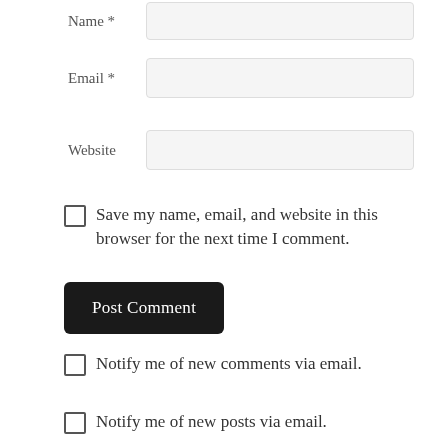Name *
Email *
Website
Save my name, email, and website in this browser for the next time I comment.
Post Comment
Notify me of new comments via email.
Notify me of new posts via email.